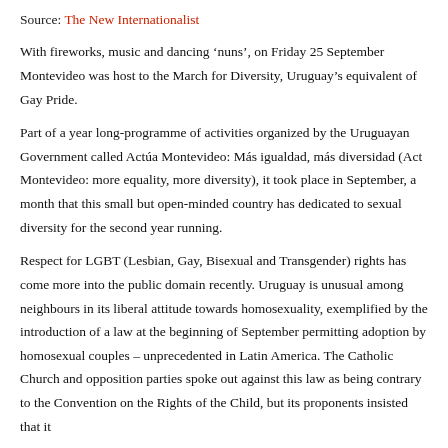Source: The New Internationalist
With fireworks, music and dancing ‘nuns’, on Friday 25 September Montevideo was host to the March for Diversity, Uruguay’s equivalent of Gay Pride.
Part of a year long-programme of activities organized by the Uruguayan Government called Actúa Montevideo: Más igualdad, más diversidad (Act Montevideo: more equality, more diversity), it took place in September, a month that this small but open-minded country has dedicated to sexual diversity for the second year running.
Respect for LGBT (Lesbian, Gay, Bisexual and Transgender) rights has come more into the public domain recently. Uruguay is unusual among neighbours in its liberal attitude towards homosexuality, exemplified by the introduction of a law at the beginning of September permitting adoption by homosexual couples – unprecedented in Latin America. The Catholic Church and opposition parties spoke out against this law as being contrary to the Convention on the Rights of the Child, but its proponents insisted that it